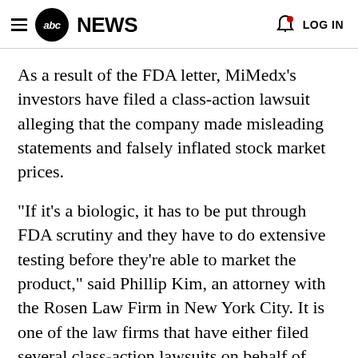abc NEWS | LOG IN
As a result of the FDA letter, MiMedx's investors have filed a class-action lawsuit alleging that the company made misleading statements and falsely inflated stock market prices.
"If it's a biologic, it has to be put through FDA scrutiny and they have to do extensive testing before they're able to market the product," said Phillip Kim, an attorney with the Rosen Law Firm in New York City. It is one of the law firms that have either filed several class-action lawsuits on behalf of MiMedx investors or